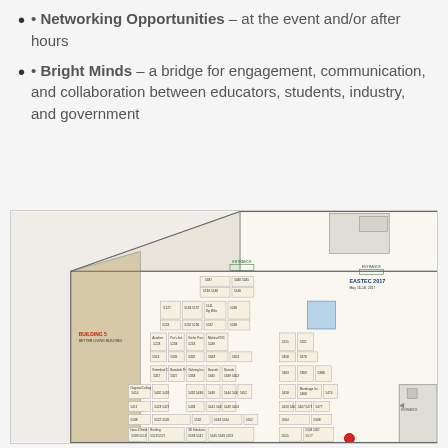• Networking Opportunities – at the event and/or after hours
• Bright Minds – a bridge for engagement, communication, and collaboration between educators, students, industry, and government
[Figure (map): Floor map of EASTEC 2017 trade show, May 16-18, 2017, showing Building 5 (Better Living Building) and booth numbers arranged in a large hall layout with entrances marked.]